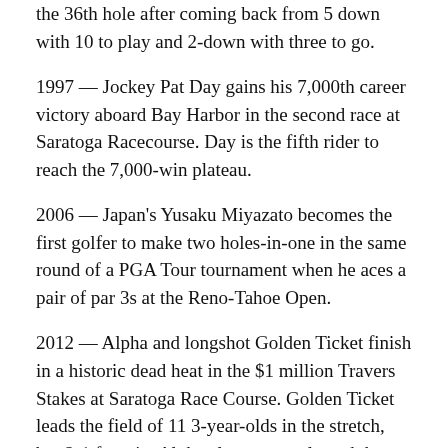the 36th hole after coming back from 5 down with 10 to play and 2-down with three to go.
1997 — Jockey Pat Day gains his 7,000th career victory aboard Bay Harbor in the second race at Saratoga Racecourse. Day is the fifth rider to reach the 7,000-win plateau.
2006 — Japan's Yusaku Miyazato becomes the first golfer to make two holes-in-one in the same round of a PGA Tour tournament when he aces a pair of par 3s at the Reno-Tahoe Open.
2012 — Alpha and longshot Golden Ticket finish in a historic dead heat in the $1 million Travers Stakes at Saratoga Race Course. Golden Ticket leads the field of 11 3-year-olds in the stretch, but 2-1 favorite Alpha closes strongly and the two hit the finish line in tandem. It's the first dead heat in the 143 runnings of the Travers, and a rare finish for any Grade 1 race. Alpha pays $4.10 and 22-1 shot Golden Ticket returns